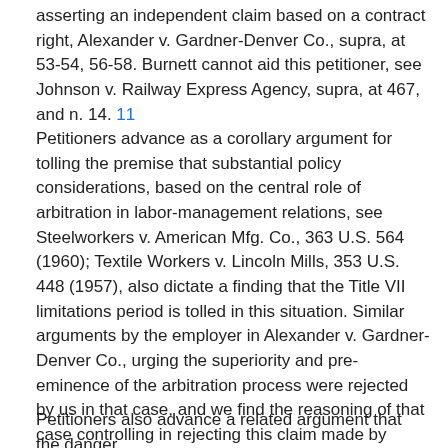asserting an independent claim based on a contract right, Alexander v. Gardner-Denver Co., supra, at 53-54, 56-58. Burnett cannot aid this petitioner, see Johnson v. Railway Express Agency, supra, at 467, and n. 14. 11
Petitioners advance as a corollary argument for tolling the premise that substantial policy considerations, based on the central role of arbitration in labor-management relations, see Steelworkers v. American Mfg. Co., 363 U.S. 564 (1960); Textile Workers v. Lincoln Mills, 353 U.S. 448 (1957), also dictate a finding that the Title VII limitations period is tolled in this situation. Similar arguments by the employer in Alexander v. Gardner-Denver Co., urging the superiority and pre-eminence of the arbitration process were rejected by us in that case, and we find the reasoning of that case controlling in rejecting this claim made by petitioners. [429 U.S. 229, 239]
Petitioners also advance a related argument that the danger